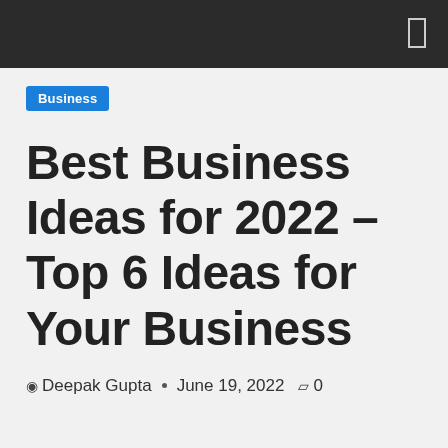Business
Best Business Ideas for 2022 – Top 6 Ideas for Your Business
Deepak Gupta · June 19, 2022 0